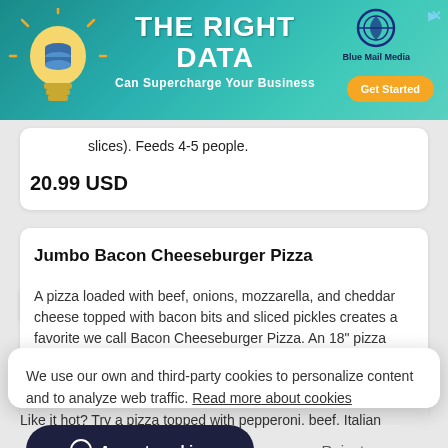[Figure (screenshot): Advertisement banner for Blue Mail Media with teal background, light bulb icon, text 'THE RIGHT DATA Can Supercharge Your Business', logo, and orange 'Get Started' button]
slices). Feeds 4-5 people.
20.99 USD
Jumbo Bacon Cheeseburger Pizza
A pizza loaded with beef, onions, mozzarella, and cheddar cheese topped with bacon bits and sliced pickles creates a favorite we call Bacon Cheeseburger Pizza. An 18" pizza
We use our own and third-party cookies to personalize content and to analyze web traffic. Read more about cookies
Accept cookies
Reject
Like it hot? Try a pizza topped with pepperoni, beef, Italian